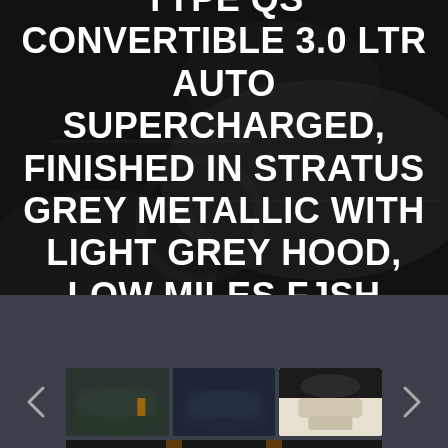[Figure (photo): Dark car interior close-up photograph used as background behind the vehicle listing title text]
2015 (02) JAGUAR F TYPE QS CONVERTIBLE 3.0 LTR AUTO SUPERCHARGED, FINISHED IN STRATUS GREY METALLIC WITH LIGHT GREY HOOD, LOW MILES FJSH (SOLD)
[Figure (photo): Thumbnail gallery of 3 visible car photos: grey Jaguar F-Type convertible exterior front, Jaguar exterior side/rear view, and white/cream interior dashboard. Navigation arrows on left and right. Partial fourth thumbnail visible at bottom.]